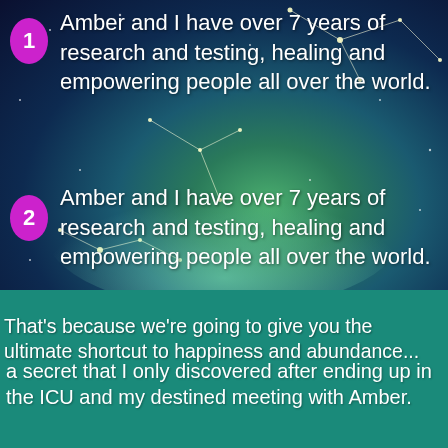1 Amber and I have over 7 years of research and testing, healing and empowering people all over the world.
2 Amber and I have over 7 years of research and testing, healing and empowering people all over the world.
That's because we're going to give you the ultimate shortcut to happiness and abundance...
a secret that I only discovered after ending up in the ICU and my destined meeting with Amber.